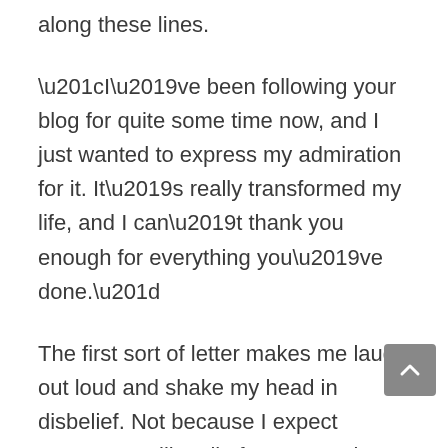along these lines.
“I’ve been following your blog for quite some time now, and I just wanted to express my admiration for it. It’s really transformed my life, and I can’t thank you enough for everything you’ve done.”
The first sort of letter makes me laugh out loud and shake my head in disbelief. Not because I expect everyone to like all of our posts, but because I can’t imagine anybody expecting me to! Of course, I understand that not everything we publish will appeal to everyone, and I would never presume that just